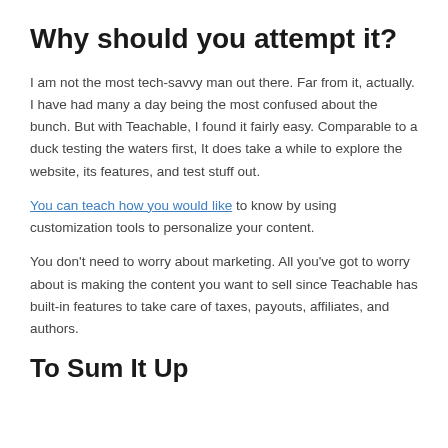Why should you attempt it?
I am not the most tech-savvy man out there. Far from it, actually. I have had many a day being the most confused about the bunch. But with Teachable, I found it fairly easy. Comparable to a duck testing the waters first, It does take a while to explore the website, its features, and test stuff out.
You can teach how you would like to know by using customization tools to personalize your content.
You don't need to worry about marketing. All you've got to worry about is making the content you want to sell since Teachable has built-in features to take care of taxes, payouts, affiliates, and authors.
To Sum It Up